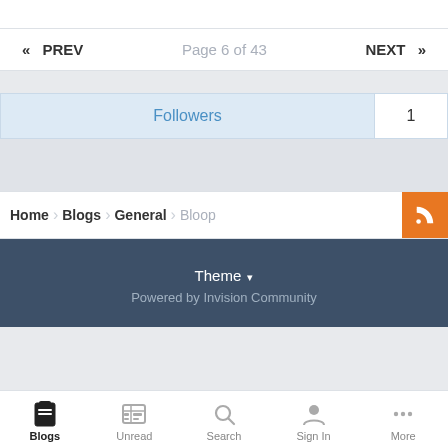« PREV   Page 6 of 43   NEXT »
Followers  1
Home  Blogs  General  Bloop
Theme ▾
Powered by Invision Community
Blogs  Unread  Search  Sign In  More